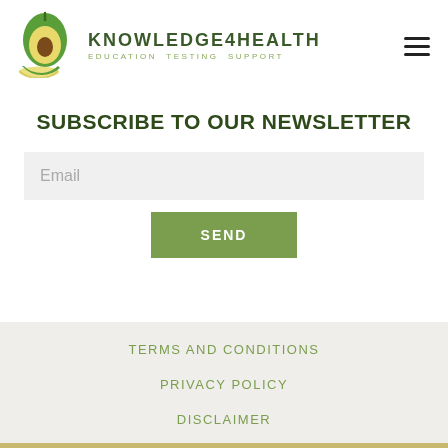[Figure (logo): Avocado logo with green avocado half illustration, brand name KNOWLEDGE4HEALTH and tagline EDUCATION TESTING SUPPORT]
SUBSCRIBE TO OUR NEWSLETTER
Email
SEND
TERMS AND CONDITIONS
PRIVACY POLICY
DISCLAIMER